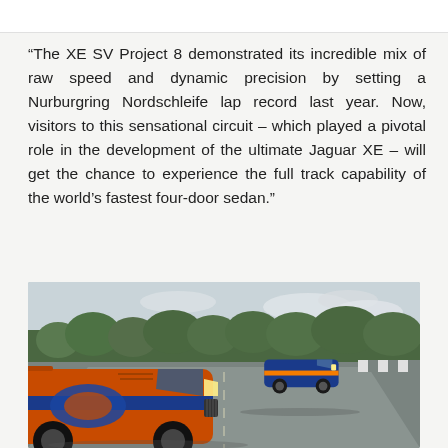“The XE SV Project 8 demonstrated its incredible mix of raw speed and dynamic precision by setting a Nurburgring Nordschleife lap record last year. Now, visitors to this sensational circuit – which played a pivotal role in the development of the ultimate Jaguar XE – will get the chance to experience the full track capability of the world’s fastest four-door sedan.”
[Figure (photo): Two Jaguar XE SV Project 8 cars on a race track (Nurburgring Nordschleife) — one orange with blue stripes in the foreground, one blue with orange stripes behind it. Green trees and cloudy sky in the background.]